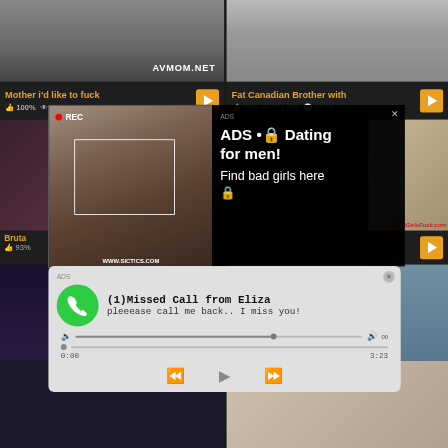[Figure (screenshot): Adult video website screenshot with two popup ads overlaid. Top section shows video thumbnails with titles 'Mother i'd like to fuck' (100%, 224,969 views) and 'Fat Canadian Brother with' (98%, 171,851 views, 12:00). A dating ad popup shows a woman taking a selfie with REC indicator, overlaid with text 'ADS • Dating for men! Find bad girls here'. A missed call popup shows green phone icon with '(1)Missed Call from Eliza - pleeease call me back.. I miss you!' with audio player controls showing 0:00 / 3:23.]